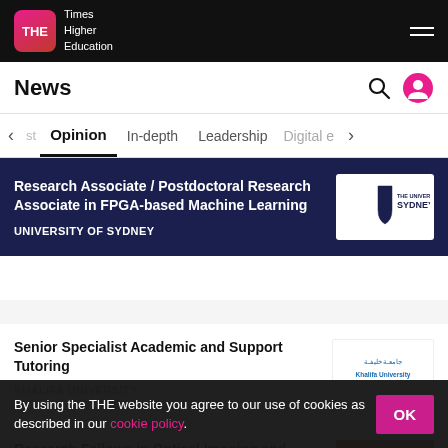THE Times Higher Education
News
Opinion | In-depth | Leadership | Digital e
Research Associate / Postdoctoral Research Associate in FPGA-based Machine Learning
UNIVERSITY OF SYDNEY
Senior Specialist Academic and Support Tutoring
KHALIFA UNIVERSITY
Research Fellows in Optical Imaging and Spectroscopy
By using the THE website you agree to our use of cookies as described in our cookie policy.